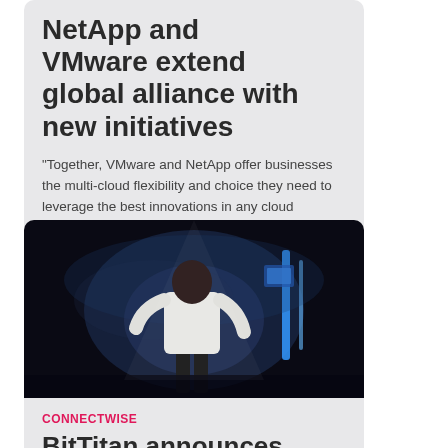NetApp and VMware extend global alliance with new initiatives
"Together, VMware and NetApp offer businesses the multi-cloud flexibility and choice they need to leverage the best innovations in any cloud environment."
[Figure (photo): Person in white jacket seen from behind on a dark stage with blue lighting, appearing to present or speak at an event.]
CONNECTWISE
BitTitan announces